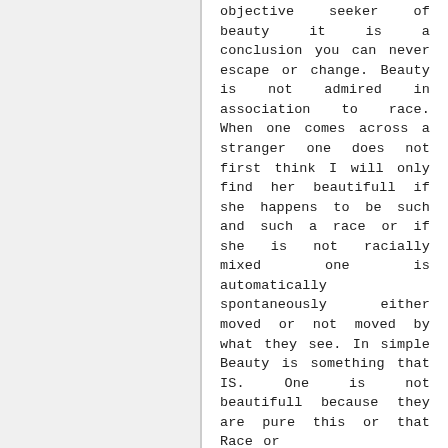objective seeker of beauty it is a conclusion you can never escape or change. Beauty is not admired in association to race. When one comes across a stranger one does not first think I will only find her beautifull if she happens to be such and such a race or if she is not racially mixed one is automatically spontaneously either moved or not moved by what they see. In simple Beauty is something that IS. One is not beautifull because they are pure this or that Race or